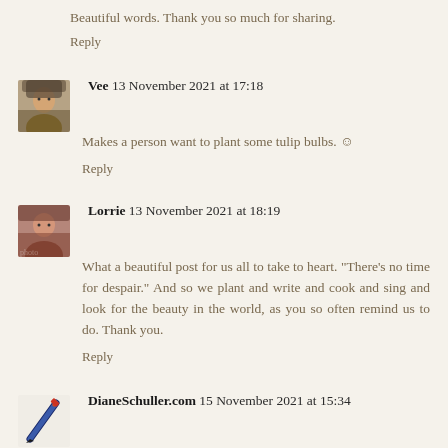Beautiful words. Thank you so much for sharing.
Reply
Vee  13 November 2021 at 17:18
Makes a person want to plant some tulip bulbs. ☺
Reply
Lorrie  13 November 2021 at 18:19
What a beautiful post for us all to take to heart. "There's no time for despair." And so we plant and write and cook and sing and look for the beauty in the world, as you so often remind us to do. Thank you.
Reply
DianeSchuller.com  15 November 2021 at 15:34
Lovely inspirational stories. I too enjoy Austin Kleon -- I have one of his books immediately to my left as I've been